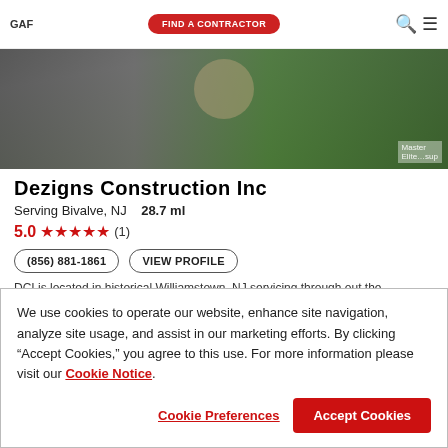GAF | FIND A CONTRACTOR
[Figure (photo): Exterior photo showing a residential driveway with dark asphalt/concrete surface, landscaping with rocks and green shrubs, and a house entrance in the background. Overlay text: 'Master Elite...sup']
Dezigns Construction Inc
Serving Bivalve, NJ   28.7 ml
5.0 ★★★★★ (1)
(856) 881-1861    VIEW PROFILE
DCI is located in historical Williamstown, NJ servicing through out the
We use cookies to operate our website, enhance site navigation, analyze site usage, and assist in our marketing efforts. By clicking "Accept Cookies," you agree to this use. For more information please visit our Cookie Notice.
Cookie Preferences   Accept Cookies